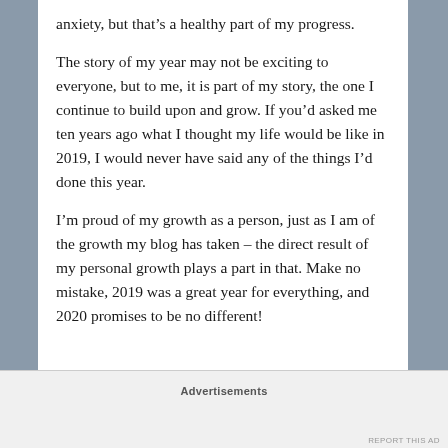anxiety, but that’s a healthy part of my progress.
The story of my year may not be exciting to everyone, but to me, it is part of my story, the one I continue to build upon and grow. If you’d asked me ten years ago what I thought my life would be like in 2019, I would never have said any of the things I’d done this year.
I’m proud of my growth as a person, just as I am of the growth my blog has taken – the direct result of my personal growth plays a part in that. Make no mistake, 2019 was a great year for everything, and 2020 promises to be no different!
Advertisements